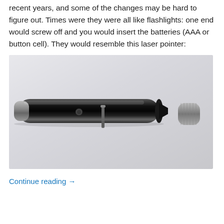recent years, and some of the changes may be hard to figure out. Times were they were all like flashlights: one end would screw off and you would insert the batteries (AAA or button cell). They would resemble this laser pointer:
[Figure (photo): Photo of a black pen-style laser pointer with its cap removed, lying on a white/light grey surface. The laser pointer body is long and cylindrical with a silver tip on one end and a button on the side. The silver cap is separated and placed to the right.]
Continue reading →